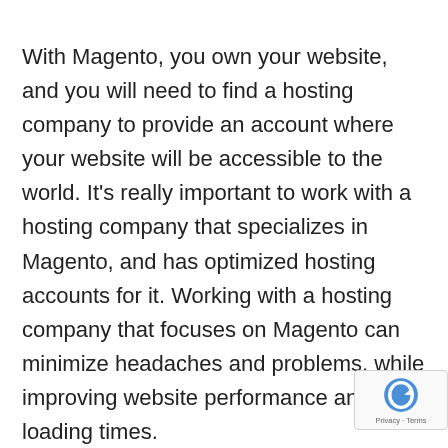With Magento, you own your website, and you will need to find a hosting company to provide an account where your website will be accessible to the world. It’s really important to work with a hosting company that specializes in Magento, and has optimized hosting accounts for it. Working with a hosting company that focuses on Magento can minimize headaches and problems, while improving website performance and loading times.
Some Magento-optimized hosts offer sh hosting starting as low as $20 to $30 a month. Others start with dedicated servers